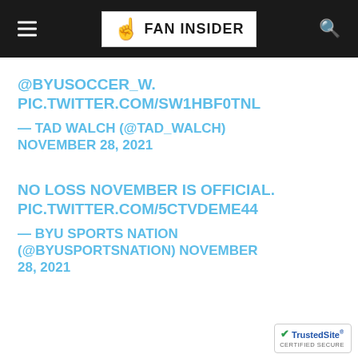FAN INSIDER
@BYUSOCCER_W. PIC.TWITTER.COM/SW1HBF0TNL
— TAD WALCH (@TAD_WALCH) NOVEMBER 28, 2021
NO LOSS NOVEMBER IS OFFICIAL. PIC.TWITTER.COM/5CTVDEME44
— BYU SPORTS NATION (@BYUSPORTSNATION) NOVEMBER 28, 2021